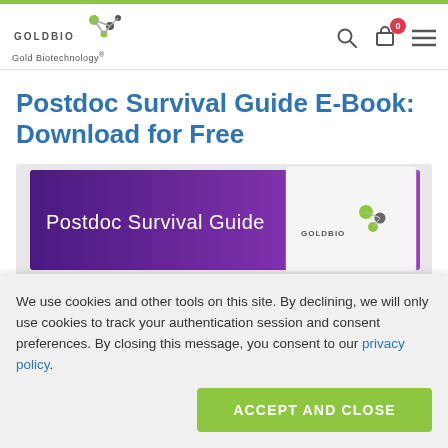GoldBio Gold Biotechnology®
Postdoc Survival Guide E-Book: Download for Free
[Figure (illustration): Book cover image with purple gradient background showing 'Postdoc Survival Guide' text and a white booklet with GoldBio logo]
We use cookies and other tools on this site. By declining, we will only use cookies to track your authentication session and consent preferences. By closing this message, you consent to our privacy policy.
ACCEPT AND CLOSE